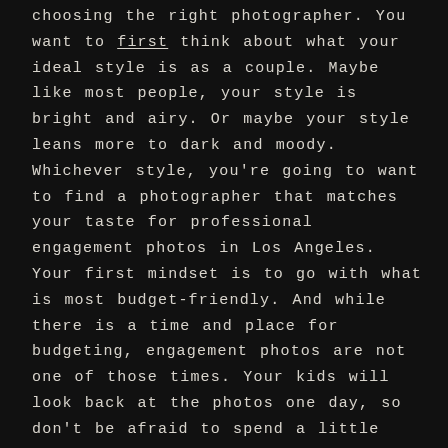choosing the right photographer. You want to first think about what your ideal style is as a couple. Maybe like most people, your style is bright and airy. Or maybe your style leans more to dark and moody. Whichever style, you're going to want to find a photographer that matches your taste for professional engagement photos in Los Angeles.
Your first mindset is to go with what is most budget-friendly. And while there is a time and place for budgeting, engagement photos are not one of those times. Your kids will look back at the photos one day, so don't be afraid to spend a little extra on that photographer